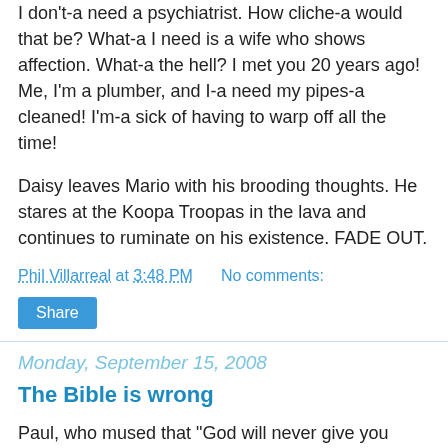I don't-a need a psychiatrist. How cliche-a would that be? What-a I need is a wife who shows affection. What-a the hell? I met you 20 years ago! Me, I'm a plumber, and I-a need my pipes-a cleaned! I'm-a sick of having to warp off all the time!
Daisy leaves Mario with his brooding thoughts. He stares at the Koopa Troopas in the lava and continues to ruminate on his existence. FADE OUT.
Phil Villarreal at 3:48 PM    No comments:
Share
Monday, September 15, 2008
The Bible is wrong
Paul, who mused that "God will never give you more than you can handle" (paraphrased) in 1 Corinthians, clearly didn't foresee a future in which BYU would play UCLA in football.